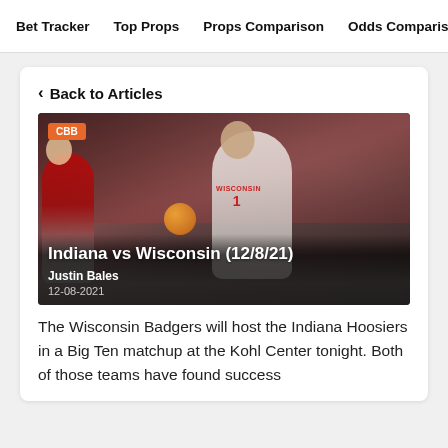Bet Tracker  Top Props  Props Comparison  Odds Comparis
< Back to Articles
[Figure (photo): Wisconsin basketball player in white WISCONSIN #1 jersey dribbling a basketball, with a defender in red jersey to the left, arena crowd in background. CBB badge in top-left corner. Overlay text: Indiana vs Wisconsin (12/8/21), Justin Bales, 12-08-2021]
Indiana vs Wisconsin (12/8/21)
Justin Bales
12-08-2021
The Wisconsin Badgers will host the Indiana Hoosiers in a Big Ten matchup at the Kohl Center tonight. Both of those teams have found success